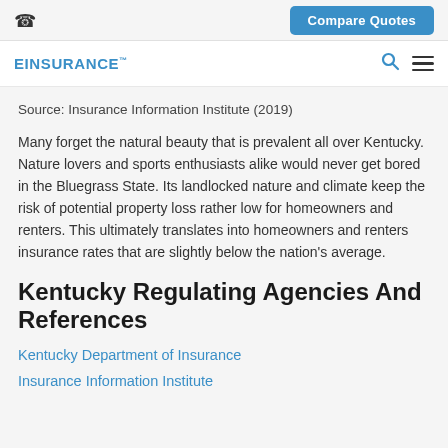Compare Quotes
EINSURANCE™
Source: Insurance Information Institute (2019)
Many forget the natural beauty that is prevalent all over Kentucky. Nature lovers and sports enthusiasts alike would never get bored in the Bluegrass State. Its landlocked nature and climate keep the risk of potential property loss rather low for homeowners and renters. This ultimately translates into homeowners and renters insurance rates that are slightly below the nation's average.
Kentucky Regulating Agencies And References
Kentucky Department of Insurance
Insurance Information Institute